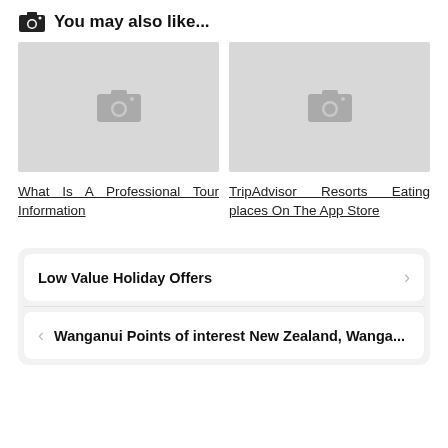You may also like...
[Figure (photo): Placeholder image with camera icon (left card)]
What Is A Professional Tour Information
[Figure (photo): Placeholder image with camera icon (right card)]
TripAdvisor Resorts Eating places On The App Store
Low Value Holiday Offers
Wanganui Points of interest New Zealand, Wanga...